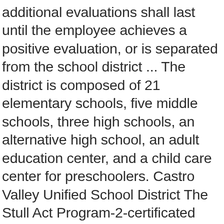additional evaluations shall last until the employee achieves a positive evaluation, or is separated from the school district ... The district is composed of 21 elementary schools, five middle schools, three high schools, an alternative high school, an adult education center, and a child care center for preschoolers. Castro Valley Unified School District The Stull Act Program-2-certificated employee would not have otherwise been evaluated pursuant to Education Code section 44664. Zillow has 62 homes for sale in Castro Valley Unified School District. This district was the 185th-largest by enrollment in the state of California during the 2012-2013 school year, according to the National Center for Education Statistics.. About the district Powered by Zillow. Number of Schools. NOTICE IS HEREBY GIVEN that the Board of Education of the Castro Valley Unified School District, at its Regular Board Meeting to be held